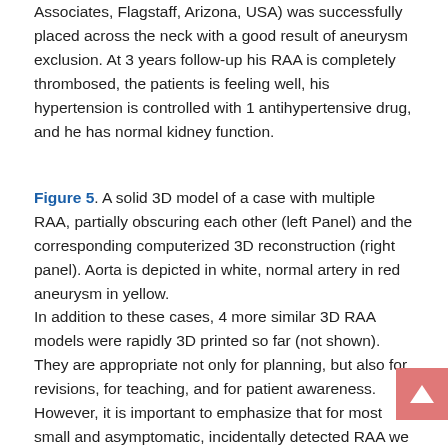Associates, Flagstaff, Arizona, USA) was successfully placed across the neck with a good result of aneurysm exclusion. At 3 years follow-up his RAA is completely thrombosed, the patients is feeling well, his hypertension is controlled with 1 antihypertensive drug, and he has normal kidney function.
Figure 5. A solid 3D model of a case with multiple RAA, partially obscuring each other (left Panel) and the corresponding computerized 3D reconstruction (right panel). Aorta is depicted in white, normal artery in red aneurysm in yellow.
In addition to these cases, 4 more similar 3D RAA models were rapidly 3D printed so far (not shown). They are appropriate not only for planning, but also for revisions, for teaching, and for patient awareness. However, it is important to emphasize that for most small and asymptomatic, incidentally detected RAA we do not recommend interventions. Therefore, in many such patients